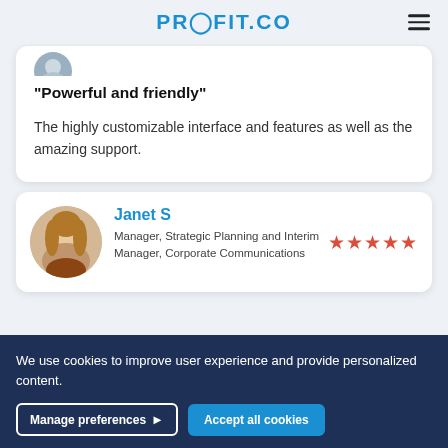PROFIT.CO
“Powerful and friendly”
The highly customizable interface and features as well as the amazing support.
Janet S
Manager, Strategic Planning and Interim Manager, Corporate Communications
We use cookies to improve user experience and provide personalized content.